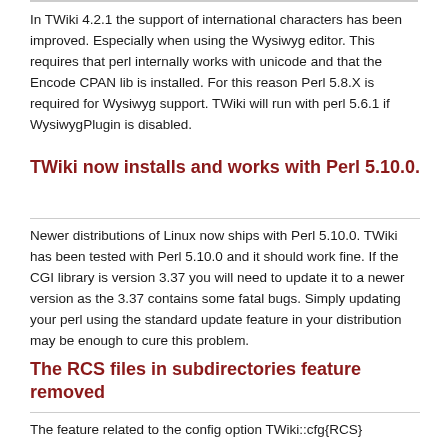In TWiki 4.2.1 the support of international characters has been improved. Especially when using the Wysiwyg editor. This requires that perl internally works with unicode and that the Encode CPAN lib is installed. For this reason Perl 5.8.X is required for Wysiwyg support. TWiki will run with perl 5.6.1 if WysiwygPlugin is disabled.
TWiki now installs and works with Perl 5.10.0.
Newer distributions of Linux now ships with Perl 5.10.0. TWiki has been tested with Perl 5.10.0 and it should work fine. If the CGI library is version 3.37 you will need to update it to a newer version as the 3.37 contains some fatal bugs. Simply updating your perl using the standard update feature in your distribution may be enough to cure this problem.
The RCS files in subdirectories feature removed
The feature related to the config option TWiki::cfg{RCS}